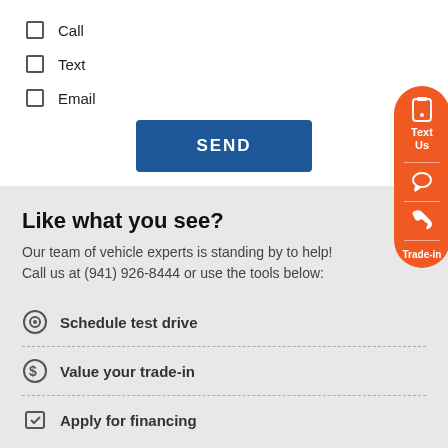Call
Text
Email
SEND
Like what you see?
Our team of vehicle experts is standing by to help! Call us at (941) 926-8444 or use the tools below:
Schedule test drive
Value your trade-in
Apply for financing